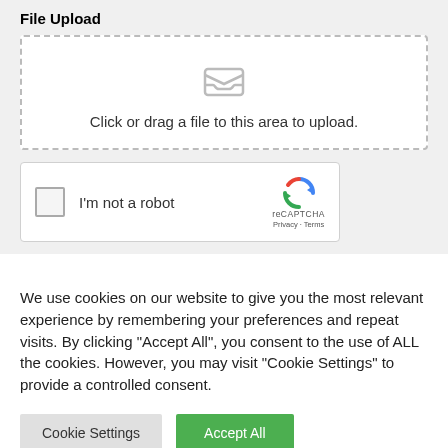File Upload
[Figure (screenshot): File upload drop zone with inbox/tray icon and text 'Click or drag a file to this area to upload.']
[Figure (screenshot): reCAPTCHA widget with checkbox and 'I'm not a robot' label, reCAPTCHA logo, Privacy and Terms links]
We use cookies on our website to give you the most relevant experience by remembering your preferences and repeat visits. By clicking "Accept All", you consent to the use of ALL the cookies. However, you may visit "Cookie Settings" to provide a controlled consent.
Cookie Settings | Accept All